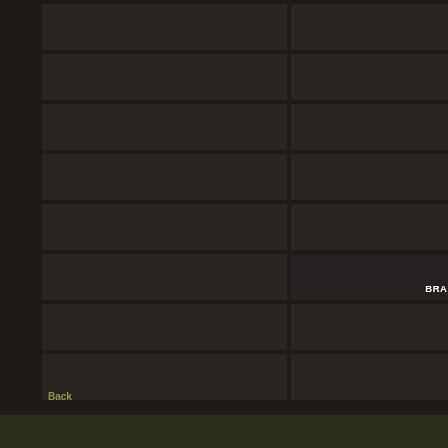[Figure (screenshot): Dark-themed UI grid layout with multiple dark rectangular cells arranged in a 2-column, 8-row grid. One cell in the right column (row 6) displays the text 'BRANDY ALMA LIBR' in white bold letters.]
BRANDY ALMA LIBR
Back